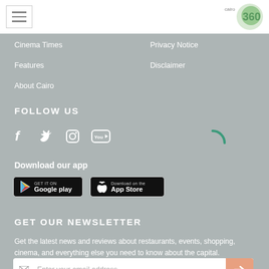Cairo 360 - navigation header with hamburger menu and logo
Cinema Times
Privacy Notice
Features
Disclaimer
About Cairo
FOLLOW US
[Figure (infographic): Social media icons: Facebook, Twitter, Instagram, YouTube]
Download our app
[Figure (infographic): Google Play and App Store download buttons]
[Figure (infographic): Loading spinner (green arc)]
GET OUR NEWSLETTER
Get the latest news and reviews about restaurants, events, shopping, cinema, and everything else you need to know about the capital.
[Figure (infographic): Email input field with envelope icon and salmon-colored submit arrow button]